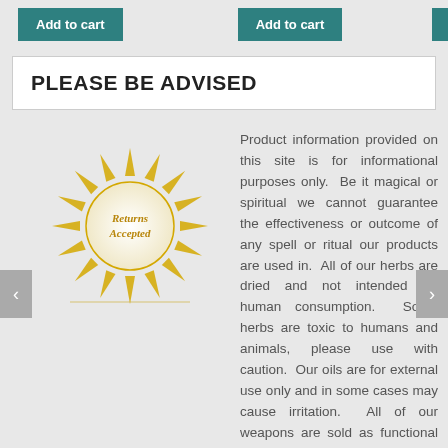Add to cart | Add to cart | Ac
PLEASE BE ADVISED
[Figure (illustration): Gold sun burst illustration with 'Returns Accepted' text in gold italic script in the center circle]
Product information provided on this site is for informational purposes only.  Be it magical or spiritual we cannot guarantee the effectiveness or outcome of any spell or ritual our products are used in.  All of our herbs are dried and not intended for human consumption.  Some herbs are toxic to humans and animals, please use with caution.  Our oils are for external use only and in some cases may cause irritation.  All of our weapons are sold as functional replicas